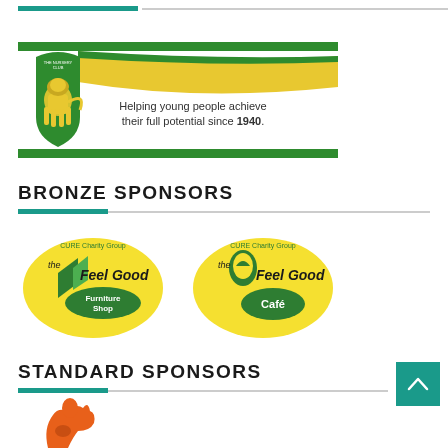[Figure (logo): The Nursery Club / nursery-themed logo with green and yellow swoosh design, lion emblem on green keystone shield, text 'Helping young people achieve their full potential since 1940.']
BRONZE SPONSORS
[Figure (logo): The Feel Good Furniture Shop logo - CURE Charity Group circular yellow/green logo with funky lettering]
[Figure (logo): The Feel Good Café logo - CURE Charity Group circular yellow/green logo with funky lettering]
STANDARD SPONSORS
[Figure (logo): Partial kangaroo/animal logo in orange at bottom left, partially cut off]